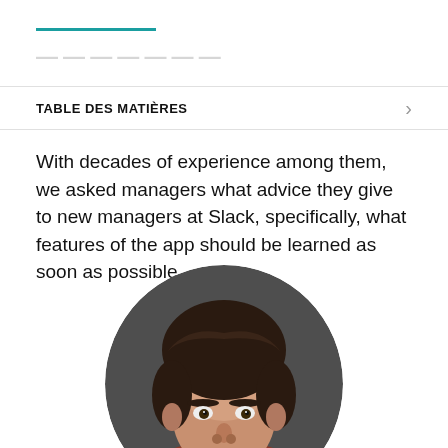— (partial header with decorative line)
TABLE DES MATIÈRES
With decades of experience among them, we asked managers what advice they give to new managers at Slack, specifically, what features of the app should be learned as soon as possible.
[Figure (photo): Circular cropped headshot of a man with dark brown hair, looking forward, against a dark grey background. The photo is cropped at the bottom of the frame.]